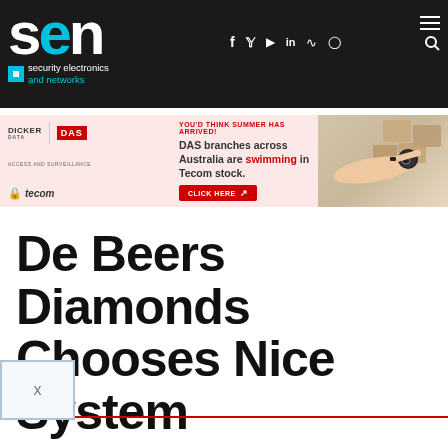SEN - security electronics and networks
[Figure (screenshot): Website advertisement banner: DAS branches across Australia are swimming in Tecom stock, with a swimmer image]
De Beers Diamonds Chooses Nice System